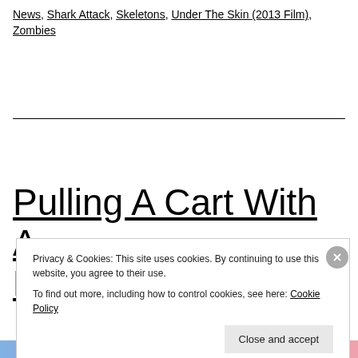News, Shark Attack, Skeletons, Under The Skin (2013 Film), Zombies
Pulling A Cart With A Di...
Privacy & Cookies: This site uses cookies. By continuing to use this website, you agree to their use.
To find out more, including how to control cookies, see here: Cookie Policy
Close and accept